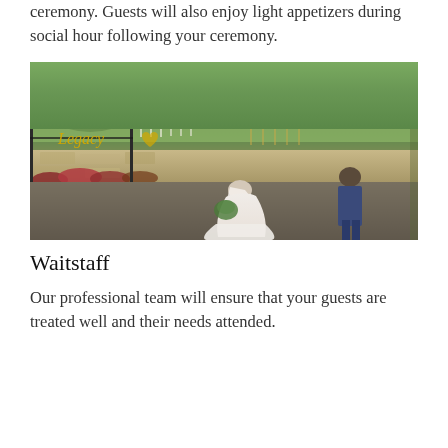ceremony. Guests will also enjoy light appetizers during social hour following your ceremony.
[Figure (photo): A bride in a white wedding gown holding a bouquet and a groom in a blue suit walking toward the Legacy venue entrance gate, with lush green trees in the background and a stone wall with colorful flowers in the foreground.]
Waitstaff
Our professional team will ensure that your guests are treated well and their needs attended.